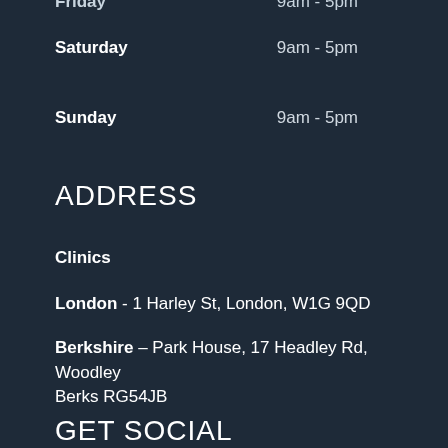Friday    9am - 5pm
Saturday    9am - 5pm
Sunday    9am - 5pm
ADDRESS
Clinics
London - 1 Harley St, London, W1G 9QD
Berkshire – Park House, 17 Headley Rd, Woodley Berks RG54JB
GET SOCIAL
[Figure (illustration): Twitter and Facebook social media icons in blue]